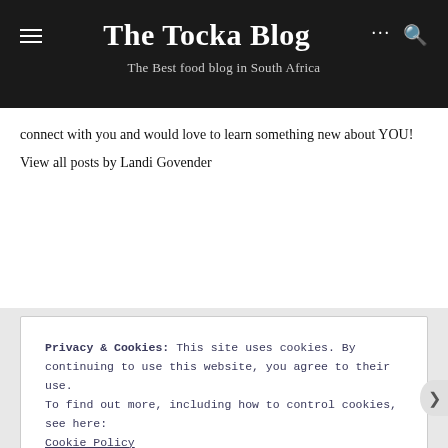The Tocka Blog
The Best food blog in South Africa
connect with you and would love to learn something new about YOU!
View all posts by Landi Govender
Privacy & Cookies: This site uses cookies. By continuing to use this website, you agree to their use.
To find out more, including how to control cookies, see here: Cookie Policy
Close and accept